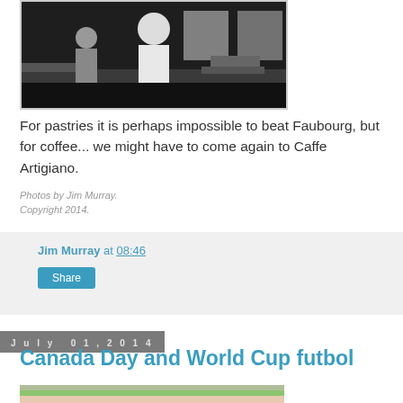[Figure (photo): Black and white photo of the interior of a cafe, showing people and tables.]
For pastries it is perhaps impossible to beat Faubourg, but for coffee... we might have to come again to Caffe Artigiano.
Photos by Jim Murray.
Copyright 2014.
Jim Murray at 08:46
Share
July 01, 2014
Canada Day and World Cup futbol
[Figure (photo): Partially visible photo showing trees against a pink sky.]